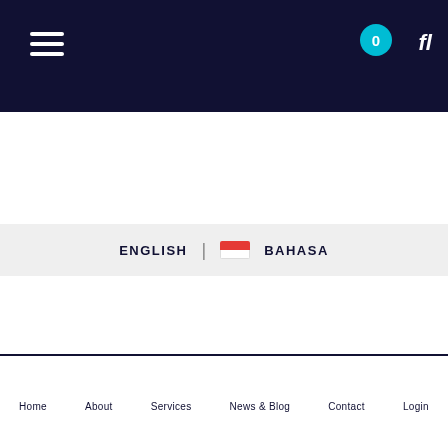Navigation header with hamburger menu, badge (0), and fl logo
ENGLISH | BAHASA
Home   About   Services   News & Blog   Contact   Login